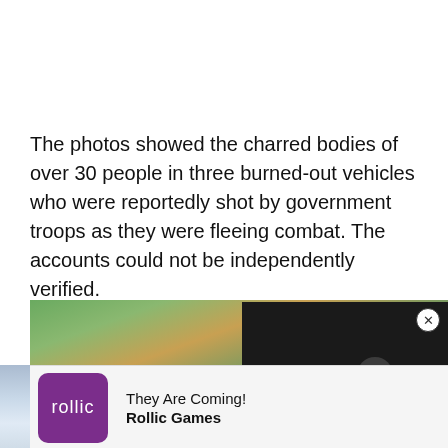The photos showed the charred bodies of over 30 people in three burned-out vehicles who were reportedly shot by government troops as they were fleeing combat. The accounts could not be independently verified.
[Figure (photo): Forest/nature scene with trees and winter landscape, partially overlaid by advertisement and video panels]
[Figure (screenshot): Video player panel with dark background showing 'THIS WEEK IN HISTORY' text with play button]
[Figure (logo): Rollic Games advertisement with purple logo square, 'They Are Coming!' title text and 'Rollic Games' bold subtitle]